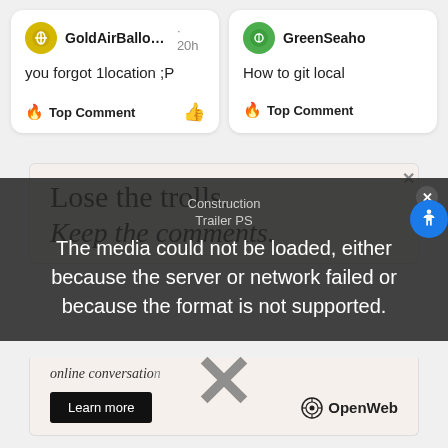GoldAirBalloon · 20h
you forgot 1location ;P
🔥 Top Comment
GreenSeaho…
How to git local
🔥 Top Comment
[Figure (screenshot): Advertisement box with text 'Lose the trolls. Keep the comments.' and OpenWeb branding with Learn more button]
[Figure (screenshot): Video player error overlay with text: 'The media could not be loaded, either because the server or network failed or because the format is not supported.' with Construction Trailer PS label and X close button]